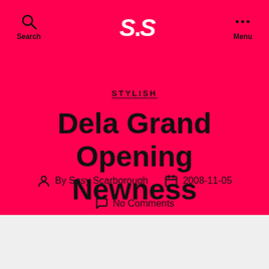S.S
Search
Menu
STYLISH
Dela Grand Opening Newness
By Sasy Scarborough   2008-11-05
No Comments